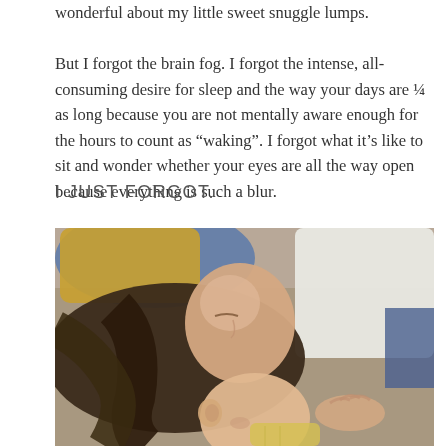wonderful about my little sweet snuggle lumps.

But I forgot the brain fog. I forgot the intense, all-consuming desire for sleep and the way your days are ¼ as long because you are not mentally aware enough for the hours to count as “waking”. I forgot what it’s like to sit and wonder whether your eyes are all the way open because everything is such a blur.
I JUST FORGOT.
[Figure (photo): A woman lying down with eyes closed beside a sleeping newborn baby, both resting, the woman wearing a white top and the baby in a yellow striped onesie.]